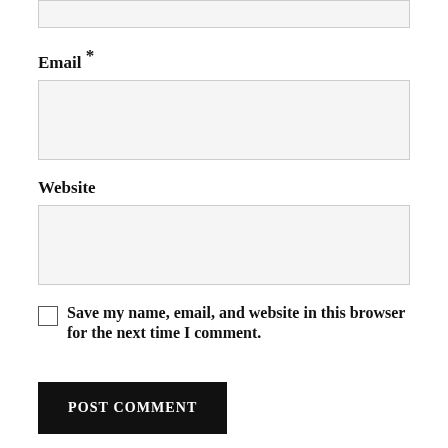Email *
[Figure (other): Empty email input field (text box, light gray background)]
Website
[Figure (other): Empty website input field (text box, light gray background)]
Save my name, email, and website in this browser for the next time I comment.
POST COMMENT
Notify me of new comments via email.
Notify me of new posts via email.